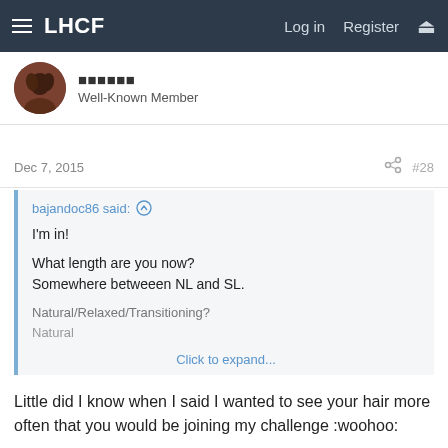LHCF  Log in  Register
Well-Known Member
Dec 7, 2015  #28
bajandoc86 said:
I'm in!

What length are you now?
Somewhere betweeen NL and SL.

Natural/Relaxed/Transitioning?
Natural

Click to expand...
Little did I know when I said I wanted to see your hair more often that you would be joining my challenge :woohoo: